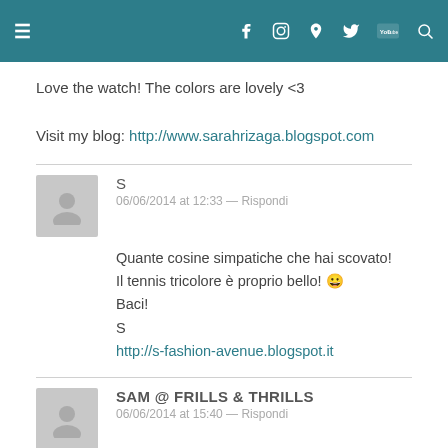Navigation bar with hamburger menu, social icons (Facebook, Instagram, Pinterest, Twitter, YouTube, Search)
Love the watch! The colors are lovely <3

Visit my blog: http://www.sarahrizaga.blogspot.com
S
06/06/2014 at 12:33 — Rispondi
Quante cosine simpatiche che hai scovato!
Il tennis tricolore è proprio bello! 😀
Baci!
S
http://s-fashion-avenue.blogspot.it
SAM @ FRILLS & THRILLS
06/06/2014 at 15:40 — Rispondi